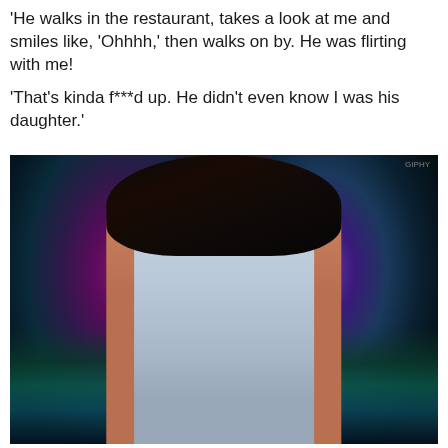'He walks in the restaurant, takes a look at me and smiles like, 'Ohhhh,' then walks on by. He was flirting with me!
'That's kinda f***d up. He didn't even know I was his daughter.'
[Figure (photo): Woman in a light blue/grey swimsuit posing in front of a colorful painted mural featuring angel wings in purple, teal, and blue tones on a dark background.]